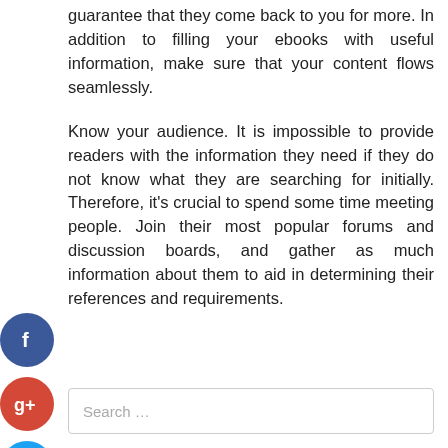guarantee that they come back to you for more. In addition to filling your ebooks with useful information, make sure that your content flows seamlessly.
Know your audience. It is impossible to provide readers with the information they need if they do not know what they are searching for initially. Therefore, it's crucial to spend some time meeting people. Join their most popular forums and discussion boards, and gather as much information about them to aid in determining their references and requirements.
[Figure (infographic): Four social media icon buttons (Facebook, Google+, Twitter, and a plus/add button) displayed vertically on the left side of the page.]